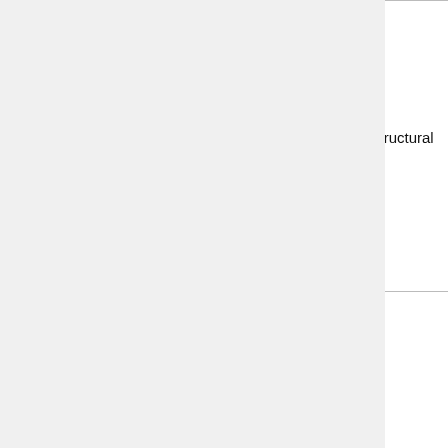| Authors | Year | Publication |
| --- | --- | --- |
| Deng, Tuan, & Xiao | 2011 | Journal of Structural Engineering |
| Deng, Tuan, Zhou & Xiao | 2011 | Journal of Structural Engineering |
| Du, Wang, He & Yi | 2009 | Proceedings of the Ninth International Conference Chinese Transportation Professionals (ICCTP) |